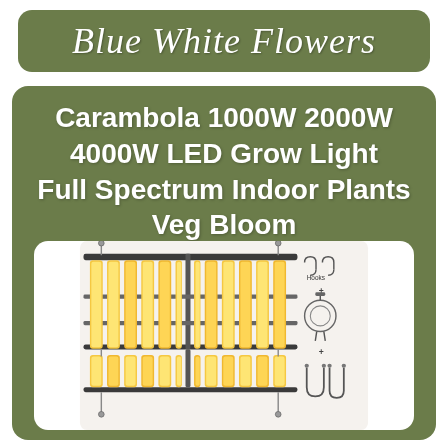Blue White Flowers
Carambola 1000W 2000W 4000W LED Grow Light Full Spectrum Indoor Plants Veg Bloom
[Figure (photo): Product image of a Carambola LED grow light panel showing multiple strips of warm-white LEDs arranged in parallel bars on a metal frame, along with accessory hardware illustration on the right side including hanging hooks, power cord, and hanging kit.]